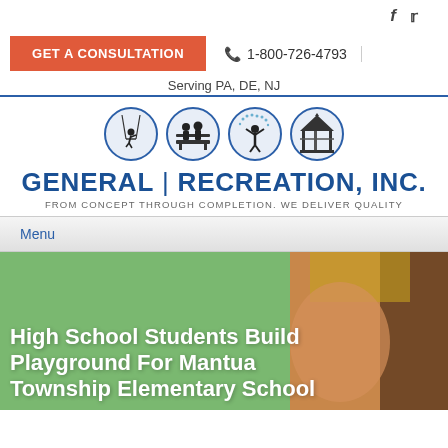f  ✓  GET A CONSULTATION  ☎ 1-800-726-4793  Serving PA, DE, NJ
[Figure (logo): General Recreation Inc logo with four circular icons (child on swing, two people on bench, child with arms up, gazebo) above company name 'GENERAL | RECREATION, INC.' and tagline 'FROM CONCEPT THROUGH COMPLETION. WE DELIVER QUALITY']
Menu
[Figure (photo): Hero banner image showing a green textured wall background on the left and a close-up of a child's face on the right, with white bold text overlay reading 'High School Students Build Playground For Mantua Township Elementary School']
High School Students Build Playground For Mantua Township Elementary School